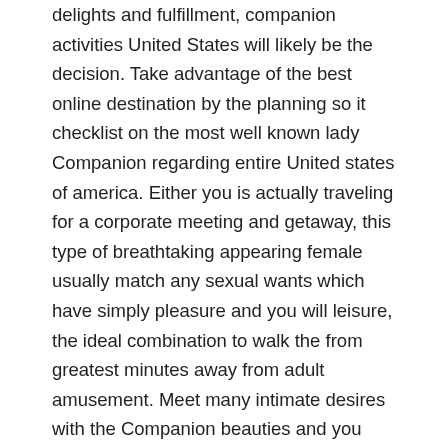delights and fulfillment, companion activities United States will likely be the decision. Take advantage of the best online destination by the planning so it checklist on the most well known lady Companion regarding entire United states of america. Either you is actually traveling for a corporate meeting and getaway, this type of breathtaking appearing female usually match any sexual wants which have simply pleasure and you will leisure, the ideal combination to walk the from greatest minutes away from adult amusement. Meet many intimate desires with the Companion beauties and you may be sure to browse through the reputation safely, and discover your favorites and you can mark them to possess afterwards trips during the United states or perhaps in the local area. Whatever wishes, such women having offer, what you need to create are get in touch with them and give her or him a trip, they will certainly joyfully day you and accompany you where actually you adore. This one has the benefit of Companion during the United states of america therefore no matter where your location try, you'll always select the best lady willing to attend and accompany you at the best